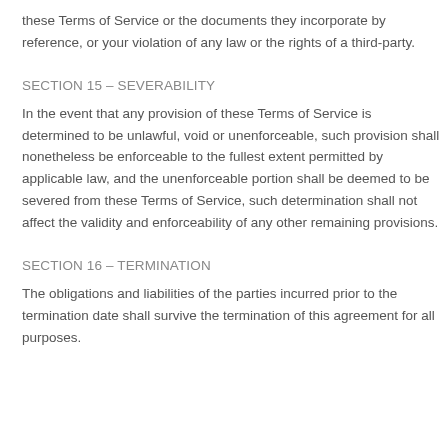these Terms of Service or the documents they incorporate by reference, or your violation of any law or the rights of a third-party.
SECTION 15 – SEVERABILITY
In the event that any provision of these Terms of Service is determined to be unlawful, void or unenforceable, such provision shall nonetheless be enforceable to the fullest extent permitted by applicable law, and the unenforceable portion shall be deemed to be severed from these Terms of Service, such determination shall not affect the validity and enforceability of any other remaining provisions.
SECTION 16 – TERMINATION
The obligations and liabilities of the parties incurred prior to the termination date shall survive the termination of this agreement for all purposes.